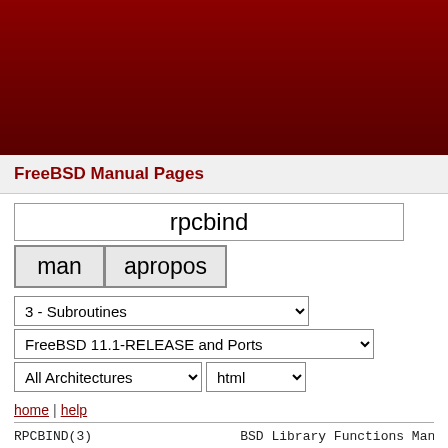[Figure (other): Dark red gradient header banner at the top of the FreeBSD website]
FreeBSD Manual Pages
rpcbind [search input box]
man  apropos [buttons]
3 - Subroutines [dropdown]
FreeBSD 11.1-RELEASE and Ports [dropdown]
All Architectures [dropdown]  html [dropdown]
home | help
RPCBIND(3)                BSD Library Functions Man
NAME
rpcb_getmaps, rpcb_getaddr, rpcb_gettime, rpc rpcb_unset -- library routines for RPC bind s